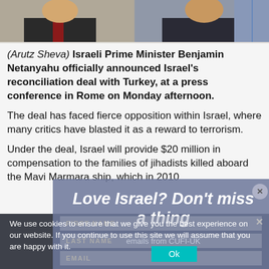[Figure (photo): Two people photographed from shoulders up, photo cropped at top, partial view of heads and clothing]
(Arutz Sheva) Israeli Prime Minister Benjamin Netanyahu officially announced Israel's reconciliation deal with Turkey, at a press conference in Rome on Monday afternoon.
The deal has faced fierce opposition within Israel, where many critics have blasted it as a reward to terrorism.
Under the deal, Israel will provide $20 million in compensation to the families of jihadists killed aboard the Mavi Marmara ship, which in 2010
[Figure (screenshot): Popup overlay with text 'Love Israel? Don't miss a thing' and subtitle 'emails from CUFI-UK' with close button]
[Figure (screenshot): Cookie consent banner: 'We use cookies to ensure that we give you the best experience on our website. If you continue to use this site we will assume that you are happy with it.' with Ok button]
[Figure (screenshot): Form overlay with FIRST NAME, LAST NAME, EMAIL fields and Ok button]